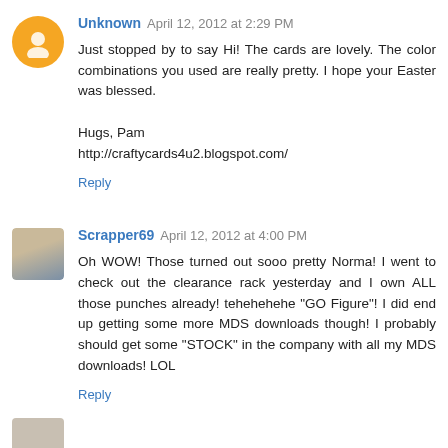[Figure (illustration): Orange circular Blogger avatar icon for Unknown user]
Unknown April 12, 2012 at 2:29 PM
Just stopped by to say Hi! The cards are lovely. The color combinations you used are really pretty. I hope your Easter was blessed.

Hugs, Pam
http://craftycards4u2.blogspot.com/
Reply
[Figure (photo): Profile photo of Scrapper69, a woman with light hair]
Scrapper69 April 12, 2012 at 4:00 PM
Oh WOW! Those turned out sooo pretty Norma! I went to check out the clearance rack yesterday and I own ALL those punches already! tehehehehe "GO Figure"! I did end up getting some more MDS downloads though! I probably should get some "STOCK" in the company with all my MDS downloads! LOL
Reply